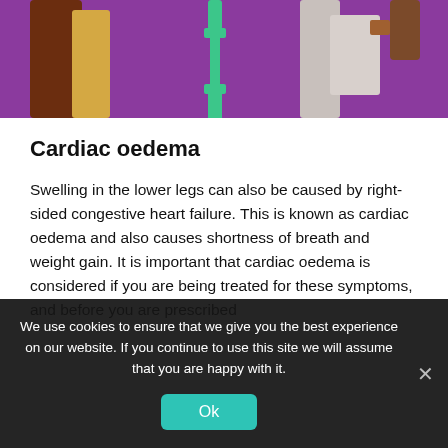[Figure (illustration): Colorful illustrated scene on purple background showing human figures, used as a decorative medical education header image]
Cardiac oedema
Swelling in the lower legs can also be caused by right-sided congestive heart failure. This is known as cardiac oedema and also causes shortness of breath and weight gain. It is important that cardiac oedema is considered if you are being treated for these symptoms, and before you are prescribed
We use cookies to ensure that we give you the best experience on our website. If you continue to use this site we will assume that you are happy with it.